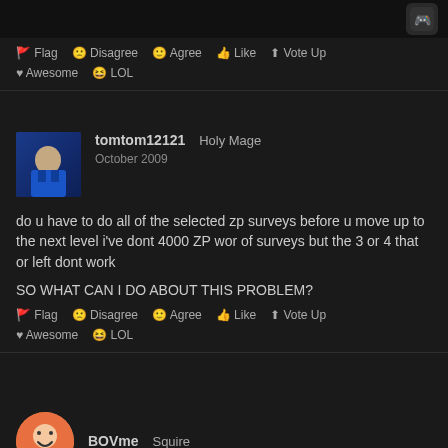Flag  Disagree  Agree  Like  Vote Up
Awesome  LOL
tomtom12121   Holy Mage
October 2009
do u have to do all of the selected zp surveys before u move up to the next level i've dont 4000 ZP wor of surveys but the 3 or 4 that or left dont work

SO WHAT CAN I DO ABOUT THIS PROBLEM?
Flag  Disagree  Agree  Like  Vote Up
Awesome  LOL
BOVme   Squire